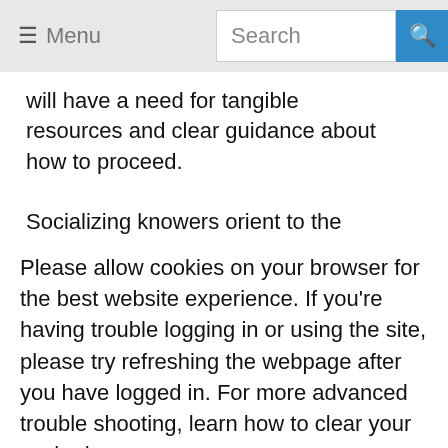≡ Menu | Search
will have a need for tangible resources and clear guidance about how to proceed.

Socializing knowers orient to the world in a relational way
Please allow cookies on your browser for the best website experience. If you're having trouble logging in or using the site, please try refreshing the webpage after you have logged in. For more advanced trouble shooting, learn how to clear your cache here.
Got it!
compassion, and care for them